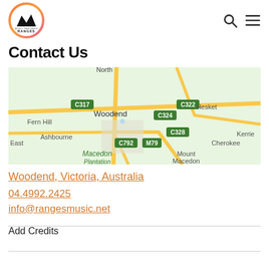[Figure (logo): Ranges Music Partners logo — circular badge with mountain silhouette, orange-pink gradient ring]
[Figure (map): Google Maps screenshot showing Woodend, Victoria, Australia area with road labels C317, C322, C324, C328, C792, M79, and place names Fern Hill, Ashbourne, Hesket, Cherokee, Macedon Plantation, Mount Macedon]
Contact Us
Woodend, Victoria, Australia
04.4992.2425
info@rangesmusic.net
Add Credits